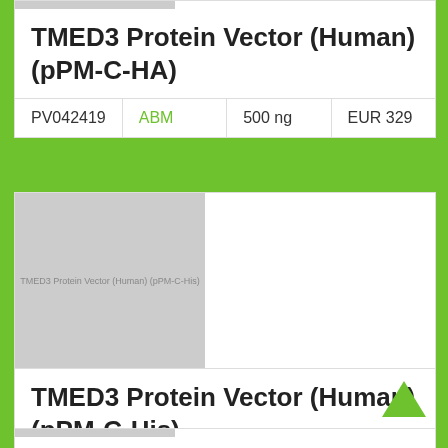TMED3 Protein Vector (Human) (pPM-C-HA)
| ID | Brand | Amount | Price |
| --- | --- | --- | --- |
| PV042419 | ABM | 500 ng | EUR 329 |
[Figure (photo): Placeholder image for TMED3 Protein Vector (Human) (pPM-C-His) product]
TMED3 Protein Vector (Human) (pPM-C-His)
| ID | Brand | Amount | Price |
| --- | --- | --- | --- |
| PV042420 | ABM | 500 ng | EUR 329 |